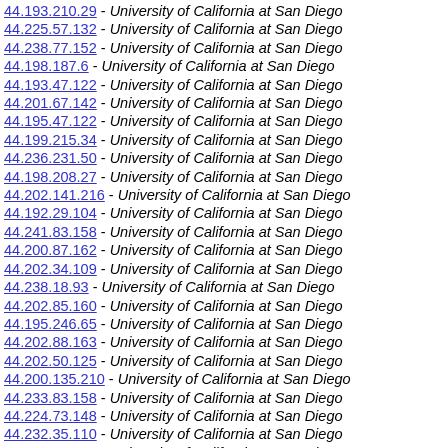44.193.210.29 - University of California at San Diego
44.225.57.132 - University of California at San Diego
44.238.77.152 - University of California at San Diego
44.198.187.6 - University of California at San Diego
44.193.47.122 - University of California at San Diego
44.201.67.142 - University of California at San Diego
44.195.47.122 - University of California at San Diego
44.199.215.34 - University of California at San Diego
44.236.231.50 - University of California at San Diego
44.198.208.27 - University of California at San Diego
44.202.141.216 - University of California at San Diego
44.192.29.104 - University of California at San Diego
44.241.83.158 - University of California at San Diego
44.200.87.162 - University of California at San Diego
44.202.34.109 - University of California at San Diego
44.238.18.93 - University of California at San Diego
44.202.85.160 - University of California at San Diego
44.195.246.65 - University of California at San Diego
44.202.88.163 - University of California at San Diego
44.202.50.125 - University of California at San Diego
44.200.135.210 - University of California at San Diego
44.233.83.158 - University of California at San Diego
44.224.73.148 - University of California at San Diego
44.232.35.110 - University of California at San Diego
44.202.84.159 - University of California at San Diego
44.200.9.84 - University of California at San Diego
44.225.85.160 - University of California at San Diego
44.201.6.81 - University of California at San Diego
44.225.59.134 - University of California at San Diego
44.193.127.202 - University of California at San Diego